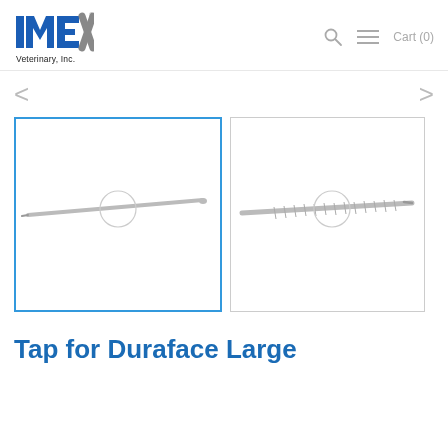[Figure (logo): IMEX Veterinary Inc. logo with blue and grey lettering]
[Figure (photo): Gallery showing two product images of a tap for Duraface Large surgical instrument - a smooth pin and a threaded tap]
Tap for Duraface Large